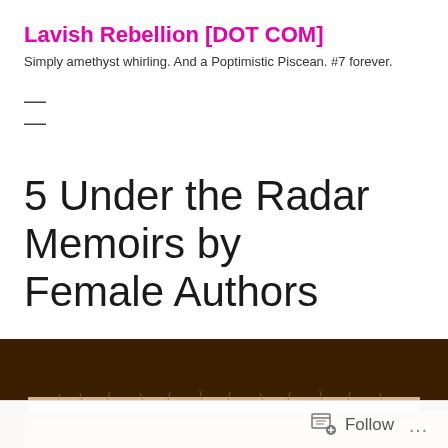Lavish Rebellion [DOT COM]
Simply amethyst whirling. And a Poptimistic Piscean. #7 forever.
≡
5 Under the Radar Memoirs by Female Authors
[Figure (photo): Close-up top view of a worn book spine against a dark brown background, showing frayed pages in a sepia/brown tone.]
Follow ...